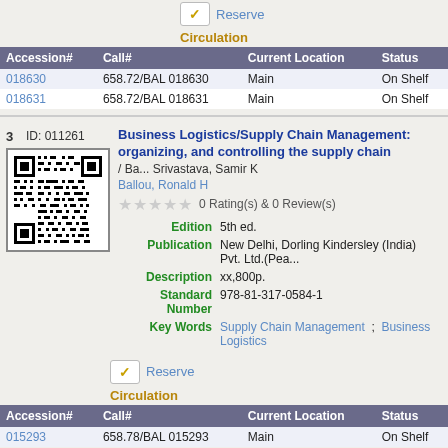Reserve
Circulation
| Accession# | Call# | Current Location | Status |
| --- | --- | --- | --- |
| 018630 | 658.72/BAL 018630 | Main | On Shelf |
| 018631 | 658.72/BAL 018631 | Main | On Shelf |
3   ID: 011261
Business Logistics/Supply Chain Management: organizing, and controlling the supply chain / Ba... Srivastava, Samir K
Ballou, Ronald H
0 Rating(s) & 0 Review(s)
| Edition | 5th ed. |
| Publication | New Delhi, Dorling Kindersley (India) Pvt. Ltd.(Pea... |
| Description | xx,800p. |
| Standard Number | 978-81-317-0584-1 |
| Key Words | Supply Chain Management  ;  Business Logistics |
Reserve
Circulation
| Accession# | Call# | Current Location | Status |
| --- | --- | --- | --- |
| 015293 | 658.78/BAL 015293 | Main | On Shelf |